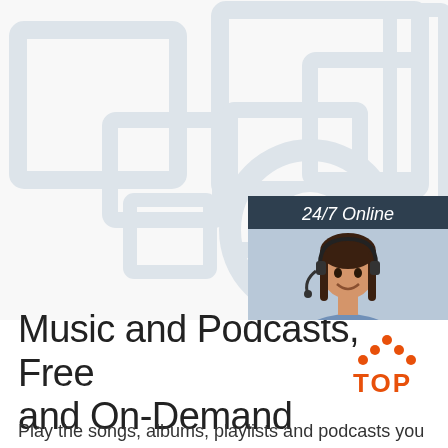[Figure (illustration): White geometric frames and circles arranged decoratively on white background, customer service representative with headset overlay with 24/7 Online badge and Click here for free chat / QUOTATION button widget]
Music and Podcasts, Free and On-Demand
Play the songs, albums, playlists and podcasts you love on the all-new Pandora. Sign up for a